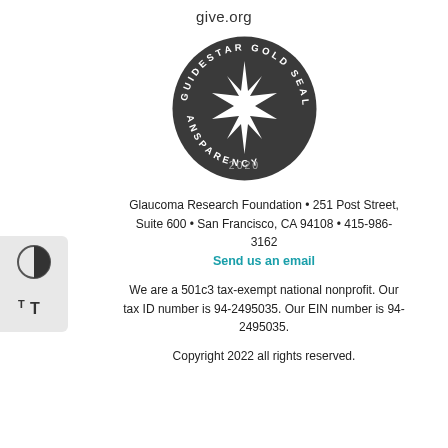give.org
[Figure (logo): GuideStar Gold Seal of Transparency 2020 circular badge with a star burst in the center on a dark gray background]
Glaucoma Research Foundation • 251 Post Street, Suite 600 • San Francisco, CA 94108 • 415-986-3162
Send us an email
We are a 501c3 tax-exempt national nonprofit. Our tax ID number is 94-2495035. Our EIN number is 94-2495035.
Copyright 2022 all rights reserved.